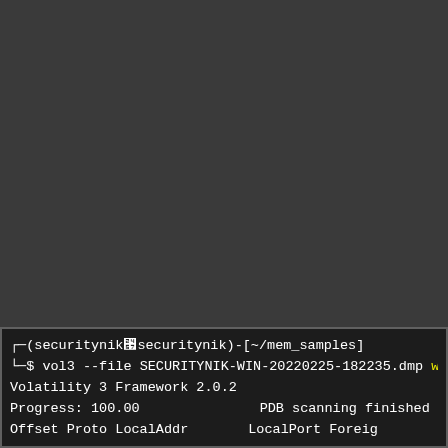[Figure (screenshot): Dark grey terminal background filling most of the page, approximately 80% empty dark space above the terminal window.]
┌─(securitynik㉿securitynik)-[~/mem_samples]
└─$ vol3 --file SECURITYNIK-WIN-20220225-182235.dmp wi
Volatility 3 Framework 2.0.2
Progress:  100.00                PDB scanning finished
Offset  Proto   LocalAddr        LocalPort  Foreig